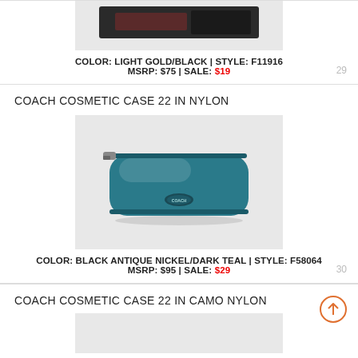[Figure (photo): Partial view of a Coach product (top cropped), dark colored item on light gray background]
COLOR: LIGHT GOLD/BLACK | STYLE: F11916
MSRP: $75 | SALE: $19
29
COACH COSMETIC CASE 22 IN NYLON
[Figure (photo): Coach Cosmetic Case 22 in dark teal nylon with silver hardware and Coach logo, on light gray background]
COLOR: BLACK ANTIQUE NICKEL/DARK TEAL | STYLE: F58064
MSRP: $95 | SALE: $29
30
COACH COSMETIC CASE 22 IN CAMO NYLON
[Figure (photo): Partial view of Coach Cosmetic Case 22 in Camo Nylon, bottom of page cropped]